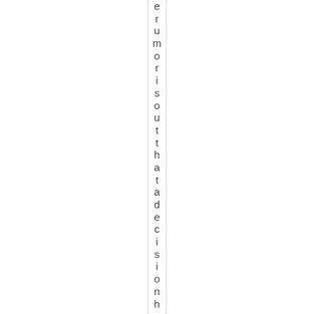erumoris out that adecision hasbee